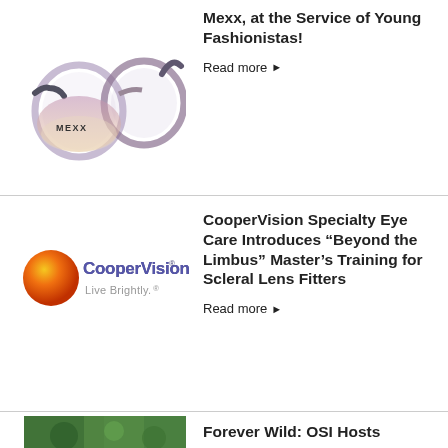[Figure (photo): Mexx branded round eyeglasses frames in purple/pink gradient with dark temples]
Mexx, at the Service of Young Fashionistas!
Read more ▶
[Figure (logo): CooperVision logo with orange sphere graphic and 'Live Brightly.' tagline]
CooperVision Specialty Eye Care Introduces “Beyond the Limbus” Master’s Training for Scleral Lens Fitters
Read more ▶
[Figure (photo): Green nature/wildlife photo (partial, cropped at page bottom)]
Forever Wild: OSI Hosts